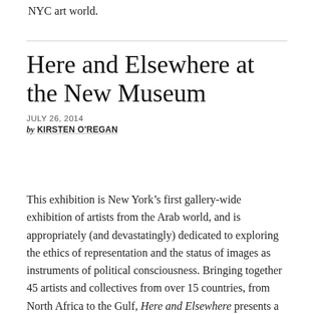NYC art world.
Here and Elsewhere at the New Museum
JULY 26, 2014
BY KIRSTEN O'REGAN
This exhibition is New York’s first gallery-wide exhibition of artists from the Arab world, and is appropriately (and devastatingly) dedicated to exploring the ethics of representation and the status of images as instruments of political consciousness. Bringing together 45 artists and collectives from over 15 countries, from North Africa to the Gulf, Here and Elsewhere presents a sweeping, riotous portrait of a heterogeneous region heretofore underrepresented in the NYC art world.